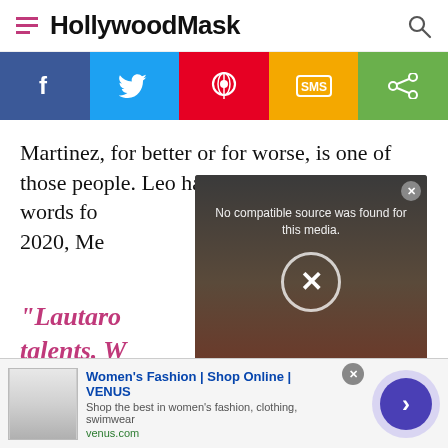HollywoodMask
[Figure (screenshot): Social sharing bar with Facebook, Twitter, Pinterest, SMS, and Share buttons]
Martinez, for better or for worse, is one of those people. Leo has not held back kind words fo… interview… 2020, Me…
[Figure (screenshot): Video player overlay showing 'No compatible source was found for this media.' with an X close button and background image of two people on a red carpet]
"Lautaro… talents. W…
[Figure (screenshot): Advertisement banner: Women's Fashion | Shop Online | VENUS - Shop the best in women's fashion, clothing, swimwear - venus.com]